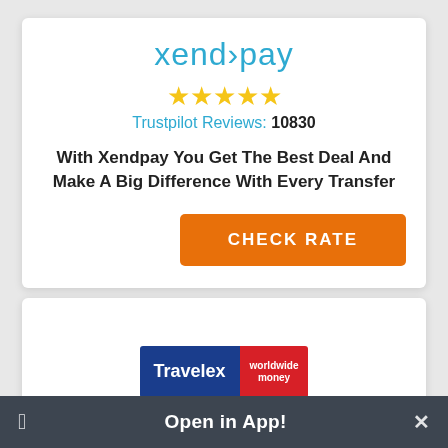[Figure (logo): Xendpay logo in teal/blue color]
[Figure (infographic): 5 yellow star rating icons]
Trustpilot Reviews: 10830
With Xendpay You Get The Best Deal And Make A Big Difference With Every Transfer
[Figure (infographic): Orange CHECK RATE button]
[Figure (logo): Travelex worldwide money logo - blue and red]
[Figure (infographic): 5 yellow star rating icons]
Trustpilot Reviews: 11766
Open in App!